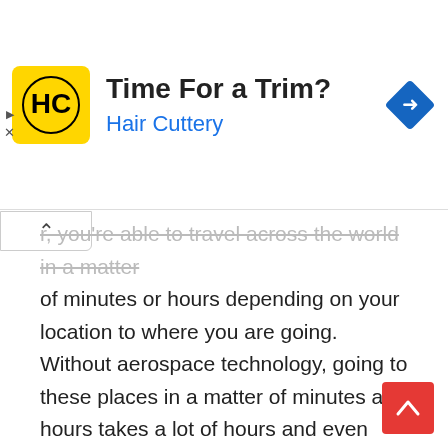[Figure (screenshot): Advertisement banner for Hair Cuttery with yellow HC logo, title 'Time For a Trim?', subtitle 'Hair Cuttery' in blue, and a blue diamond turn arrow icon on the right.]
r, you're able to travel across the world in a matter of minutes or hours depending on your location to where you are going. Without aerospace technology, going to these places in a matter of minutes and hours takes a lot of hours and even days.